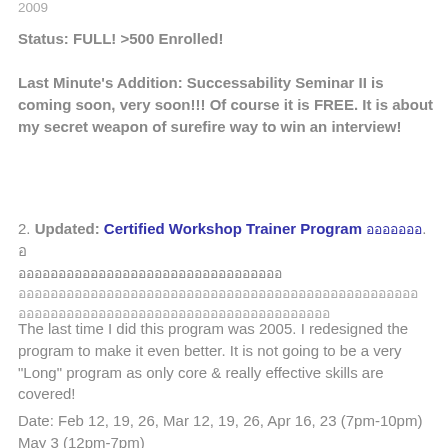2009
Status: FULL! >500 Enrolled!
Last Minute's Addition: Successability Seminar II is coming soon, very soon!!! Of course it is FREE. It is about my secret weapon of surefire way to win an interview!
2. Updated: Certified Workshop Trainer Program อออออออ. อออออออออออออออออออออออออออออออออ
อออออออออออออออออออออออออออออออออออออออออออออออออออออออออออออออออออออออออออออออออออออออออ
The last time I did this program was 2005. I redesigned the program to make it even better. It is not going to be a very "Long" program as only core & really effective skills are covered!
Date: Feb 12, 19, 26, Mar 12, 19, 26, Apr 16, 23 (7pm-10pm) May 3 (12pm-7pm)